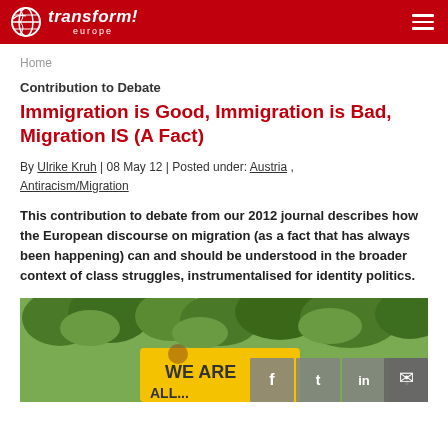transform! europe
Home
Contribution to Debate
Immigration is Good, Immigration is Bad, Migration IS (A Fact)
By Ulrike Kruh | 08 May 12 | Posted under: Austria , Antiracism/Migration
This contribution to debate from our 2012 journal describes how the European discourse on migration (as a fact that has always been happening) can and should be understood in the broader context of class struggles, instrumentalised for identity politics.
[Figure (photo): Photo of a protest scene with trees in the background and a yellow sign being held up. Social media sharing buttons are overlaid at the bottom right.]